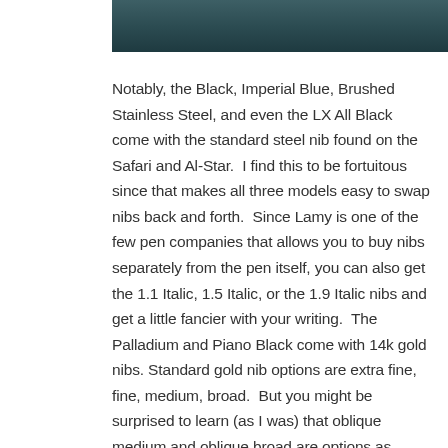[Figure (photo): Partial image of a pen or pen-related object, dark teal/slate colored, cropped at top of page]
Notably, the Black, Imperial Blue, Brushed Stainless Steel, and even the LX All Black come with the standard steel nib found on the Safari and Al-Star.  I find this to be fortuitous since that makes all three models easy to swap nibs back and forth.  Since Lamy is one of the few pen companies that allows you to buy nibs separately from the pen itself, you can also get the 1.1 Italic, 1.5 Italic, or the 1.9 Italic nibs and get a little fancier with your writing.  The Palladium and Piano Black come with 14k gold nibs.  Standard gold nib options are extra fine, fine, medium, broad.  But you might be surprised to learn (as I was) that oblique medium and oblique broad are options as special orders.